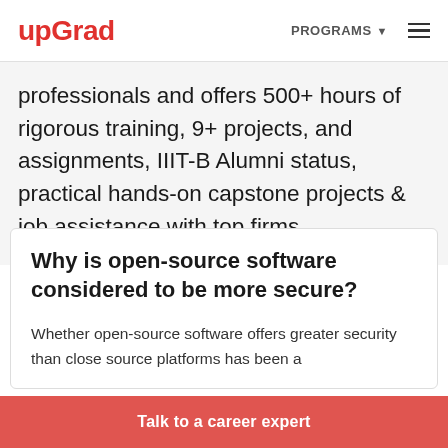upGrad | PROGRAMS ☰
professionals and offers 500+ hours of rigorous training, 9+ projects, and assignments, IIIT-B Alumni status, practical hands-on capstone projects & job assistance with top firms.
Why is open-source software considered to be more secure?
Whether open-source software offers greater security than close source platforms has been a
Talk to a career expert